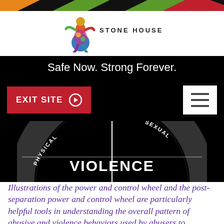[Figure (other): Decorative diagonal stripe banner at top with green, orange, black, red colors]
[Figure (logo): Stone House logo with colorful figurine sculpture and text STONE HOUSE]
Safe Now. Strong Forever.
[Figure (other): EXIT SITE button and hamburger menu button in black navigation bar]
[Figure (other): Partial view of power and control wheel showing PHYSICAL, VIOLENCE, SEXUAL text in black and white arc]
Illustrations of the power and control wheel and the post-separation power and control wheel are particularly helpful tools in understanding the overall pattern of abusive and violence behaviors used by abusers to establish and maintain control over their